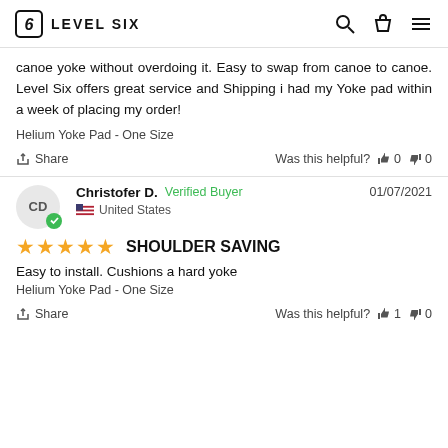LEVEL SIX
canoe yoke without overdoing it. Easy to swap from canoe to canoe. Level Six offers great service and Shipping i had my Yoke pad within a week of placing my order!
Helium Yoke Pad - One Size
Share  Was this helpful? 0  0
Christofer D.  Verified Buyer  01/07/2021  United States
★★★★★ SHOULDER SAVING
Easy to install. Cushions a hard yoke
Helium Yoke Pad - One Size
Share  Was this helpful? 1  0